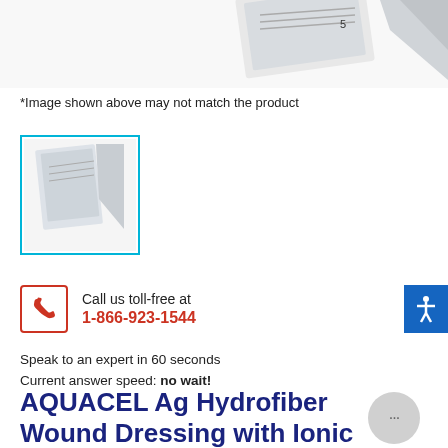[Figure (photo): Product image of AQUACEL Ag Hydrofiber Wound Dressing ribbon, partially cropped at top of page]
*Image shown above may not match the product
[Figure (photo): Thumbnail image of AQUACEL Ag product packaging with cyan/teal border]
Call us toll-free at
1-866-923-1544
Speak to an expert in 60 seconds
Current answer speed: no wait!
AQUACEL Ag Hydrofiber Wound Dressing with Ionic Silver 2/5" x 18" Ribbon